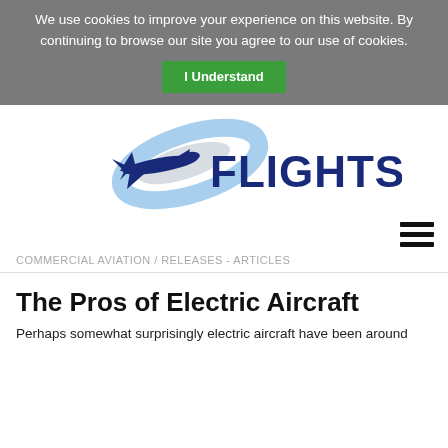We use cookies to improve your experience on this website. By continuing to browse our site you agree to our use of cookies.
I Understand
[Figure (logo): FlightStory logo with airplane silhouette and blue ellipse swoosh, text FLIGHTSTORY in dark blue bold]
COMMERCIAL AVIATION / RELEASES - ARTICLES
The Pros of Electric Aircraft
Perhaps somewhat surprisingly electric aircraft have been around